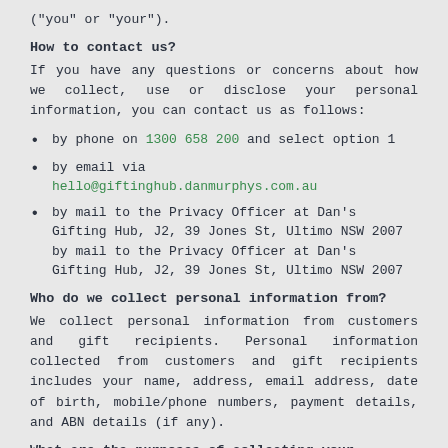("you" or "your").
How to contact us?
If you have any questions or concerns about how we collect, use or disclose your personal information, you can contact us as follows:
by phone on 1300 658 200 and select option 1
by email via hello@giftinghub.danmurphys.com.au
by mail to the Privacy Officer at Dan's Gifting Hub, J2, 39 Jones St, Ultimo NSW 2007 by mail to the Privacy Officer at Dan's Gifting Hub, J2, 39 Jones St, Ultimo NSW 2007
Who do we collect personal information from?
We collect personal information from customers and gift recipients. Personal information collected from customers and gift recipients includes your name, address, email address, date of birth, mobile/phone numbers, payment details, and ABN details (if any).
What are the purposes of collecting your personal information?